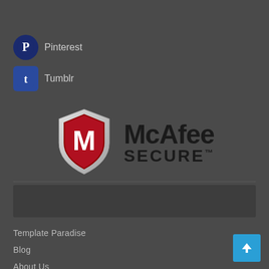Pinterest
Tumblr
[Figure (logo): McAfee SECURE logo with red and white shield containing the letter M, alongside bold text reading McAfee SECURE with trademark symbol]
Template Paradise
Blog
About Us
FAQs